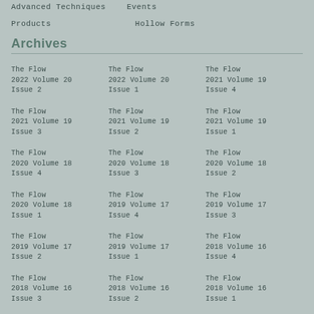Advanced Techniques   Events
Products   Hollow Forms
Archives
The Flow 2022 Volume 20 Issue 2
The Flow 2022 Volume 20 Issue 1
The Flow 2021 Volume 19 Issue 4
The Flow 2021 Volume 19 Issue 3
The Flow 2021 Volume 19 Issue 2
The Flow 2021 Volume 19 Issue 1
The Flow 2020 Volume 18 Issue 4
The Flow 2020 Volume 18 Issue 3
The Flow 2020 Volume 18 Issue 2
The Flow 2020 Volume 18 Issue 1
The Flow 2019 Volume 17 Issue 4
The Flow 2019 Volume 17 Issue 3
The Flow 2019 Volume 17 Issue 2
The Flow 2019 Volume 17 Issue 1
The Flow 2018 Volume 16 Issue 4
The Flow 2018 Volume 16 Issue 3
The Flow 2018 Volume 16 Issue 2
The Flow 2018 Volume 16 Issue 1